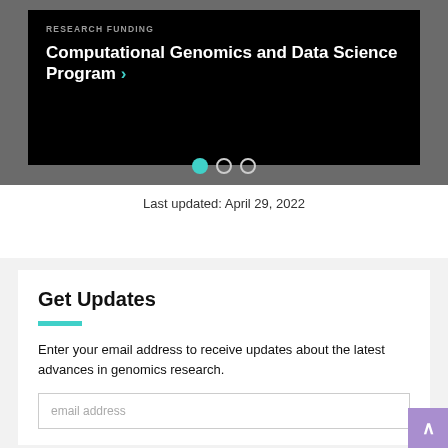[Figure (screenshot): Dark hero banner card on gray background showing 'RESEARCH FUNDING' label and 'Computational Genomics and Data Science Program >' title in white on black background, with three navigation dots below (first dot filled teal, two empty)]
Last updated: April 29, 2022
Get Updates
Enter your email address to receive updates about the latest advances in genomics research.
email address